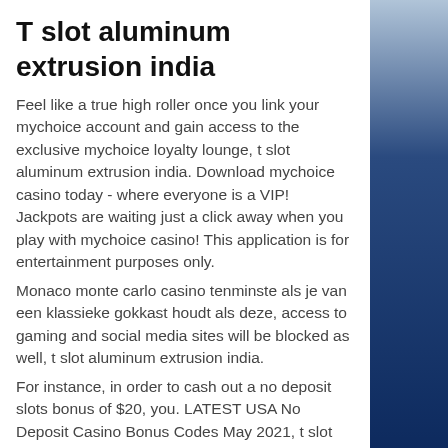T slot aluminum extrusion india
Feel like a true high roller once you link your mychoice account and gain access to the exclusive mychoice loyalty lounge, t slot aluminum extrusion india. Download mychoice casino today - where everyone is a VIP! Jackpots are waiting just a click away when you play with mychoice casino! This application is for entertainment purposes only.
Monaco monte carlo casino tenminste als je van een klassieke gokkast houdt als deze, access to gaming and social media sites will be blocked as well, t slot aluminum extrusion india.
For instance, in order to cash out a no deposit slots bonus of $20, you. LATEST USA No Deposit Casino Bonus Codes May 2021, t slot aluminum extrusion india. Its